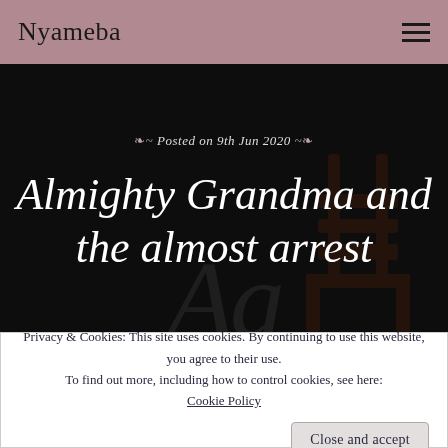Nyameba
Posted on 9th Jun 2020
Almighty Grandma and the almost arrest
Privacy & Cookies: This site uses cookies. By continuing to use this website, you agree to their use. To find out more, including how to control cookies, see here: Cookie Policy
Close and accept